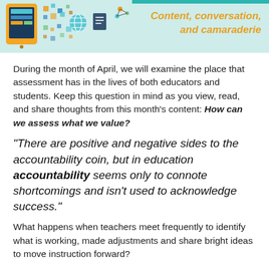[Figure (illustration): Banner image with a teal/mint background showing a tablet device on the left with colorful educational icons and geometric dots, and italic bold orange text on the right reading 'Content, conversation, and camaraderie']
During the month of April, we will examine the place that assessment has in the lives of both educators and students. Keep this question in mind as you view, read, and share thoughts from this month's content: How can we assess what we value?
"There are positive and negative sides to the accountability coin, but in education accountability seems only to connote shortcomings and isn't used to acknowledge success."
What happens when teachers meet frequently to identify what is working, made adjustments and share bright ideas to move instruction forward?